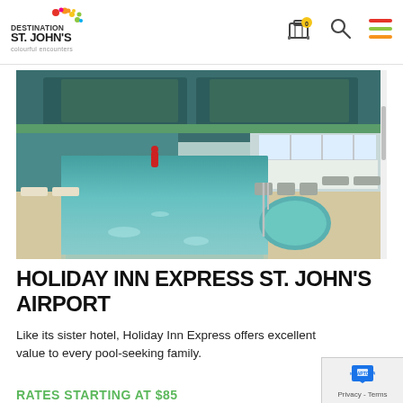Destination St. John's — colourful encounters (navigation header with luggage, search, and menu icons)
[Figure (photo): Indoor hotel swimming pool with teal water, light-colored tile surround, lounge chairs in background, large windows showing snowy exterior, green accent ceiling beams.]
HOLIDAY INN EXPRESS ST. JOHN'S AIRPORT
Like its sister hotel, Holiday Inn Express offers excellent value to every pool-seeking family.
RATES STARTING AT $85